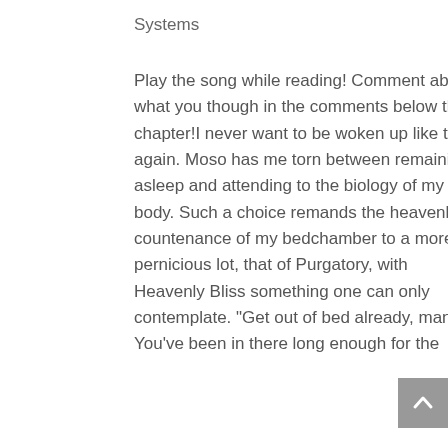Systems
Play the song while reading! Comment about what you though in the comments below the chapter!I never want to be woken up like this again. Moso has me torn between remaining asleep and attending to the biology of my body. Such a choice remands the heavenly countenance of my bedchamber to a more pernicious lot, that of Purgatory, with Heavenly Bliss something one can only contemplate. "Get out of bed already, man! You've been in there long enough for the